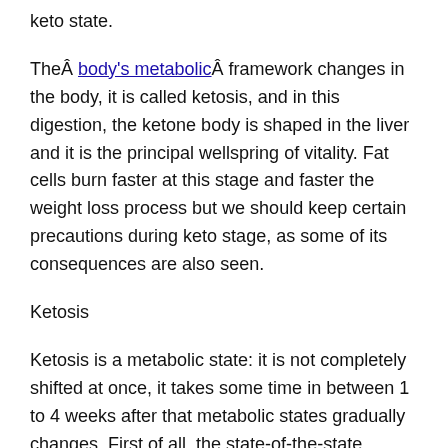keto state.
TheÂ body's metabolicÂ framework changes in the body, it is called ketosis, and in this digestion, the ketone body is shaped in the liver and it is the principal wellspring of vitality. Fat cells burn faster at this stage and faster the weight loss process but we should keep certain precautions during keto stage, as some of its consequences are also seen.
Ketosis
Ketosis is a metabolic state: it is not completely shifted at once, it takes some time in between 1 to 4 weeks after that metabolic states gradually changes. First of all, the state-of-the-state glucose goes away from the stomach, some new